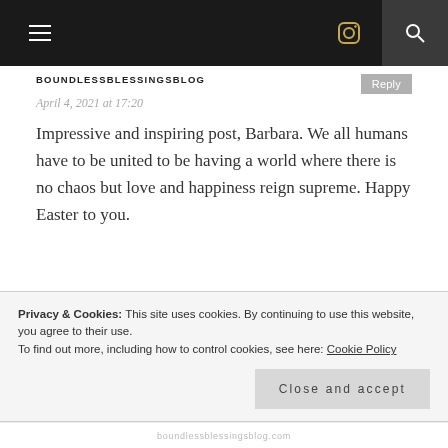BOUNDLESSBLESSINGSBLOG navigation bar
BOUNDLESSBLESSINGSBLOG
April 4, 2021 at 17:20
Impressive and inspiring post, Barbara. We all humans have to be united to be having a world where there is no chaos but love and happiness reign supreme. Happy Easter to you.
BARBARA FRANKEN
Privacy & Cookies: This site uses cookies. By continuing to use this website, you agree to their use.
To find out more, including how to control cookies, see here: Cookie Policy
Close and accept